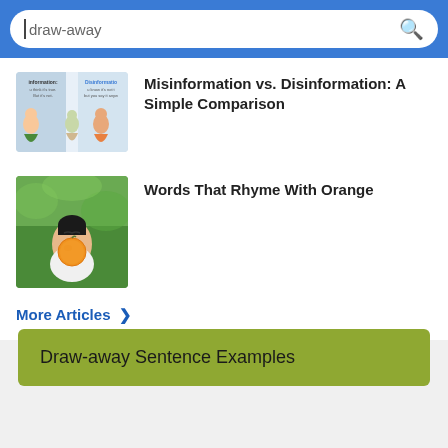draw-away
[Figure (illustration): Thumbnail image for Misinformation vs. Disinformation article showing cartoon figures with speech bubbles and two columns labeled Misinformation vs Disinformation]
Misinformation vs. Disinformation: A Simple Comparison
[Figure (photo): Thumbnail photo of a young Asian girl holding an orange fruit up to her face outdoors with green background]
Words That Rhyme With Orange
More Articles >
Draw-away Sentence Examples